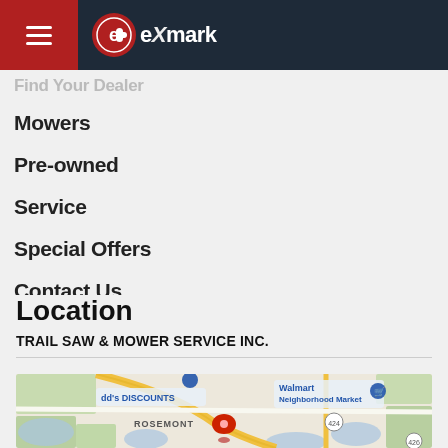[Figure (screenshot): Exmark website header with hamburger menu icon and Exmark logo on dark navy background]
Find Your Dealer
Mowers
Pre-owned
Service
Special Offers
Contact Us
Location
TRAIL SAW & MOWER SERVICE INC.
[Figure (map): Google Maps screenshot showing area near Rosemont with dd's DISCOUNTS, Walmart Neighborhood Market, route 424 and 426, with a red pin marker in the center]